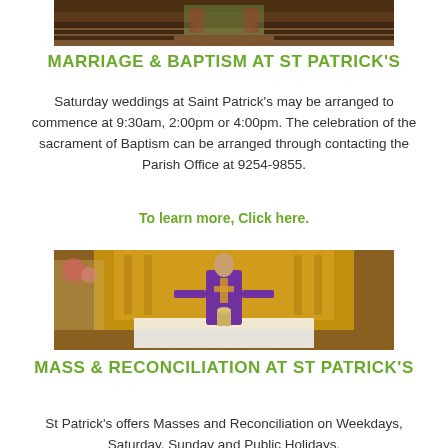[Figure (photo): Interior view of Saint Patrick's church showing pews and altar area]
MARRIAGE & BAPTISM AT ST PATRICK'S
Saturday weddings at Saint Patrick's may be arranged to commence at 9:30am, 2:00pm or 4:00pm. The celebration of the sacrament of Baptism can be arranged through contacting the Parish Office at 9254-9855.
To learn more, Click here.
[Figure (photo): Priest in purple vestments celebrating Mass at the altar of St Patrick's]
MASS & RECONCILIATION AT ST PATRICK'S
St Patrick's offers Masses and Reconciliation on Weekdays, Saturday, Sunday and Public Holidays.